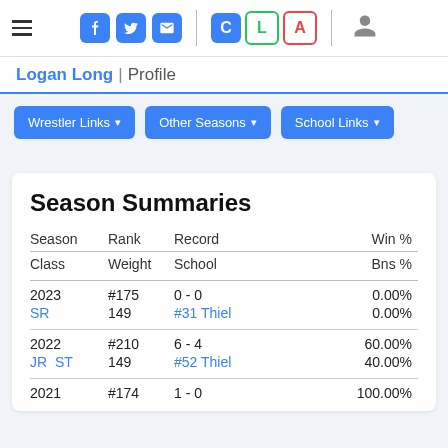Navigation bar with hamburger menu, social icons (Facebook, Twitter, Email), C L A buttons, user icon
Logan Long | Profile
Wrestler Links ▾
Other Seasons ▾
School Links ▾
Season Summaries
| Season | Rank | Record | Win % | Class | Weight | School | Bns % |
| --- | --- | --- | --- | --- | --- | --- | --- |
| 2023 | #175 | 0 - 0 | 0.00% |
| SR | 149 | #31 Thiel | 0.00% |
| 2022 | #210 | 6 - 4 | 60.00% |
| JR  ST | 149 | #52 Thiel | 40.00% |
| 2021 | #174 | 1 - 0 | 100.00% |